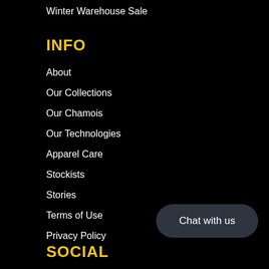Winter Warehouse Sale
INFO
About
Our Collections
Our Chamois
Our Technologies
Apparel Care
Stockists
Stories
Terms of Use
Privacy Policy
SOCIAL
Chat with us